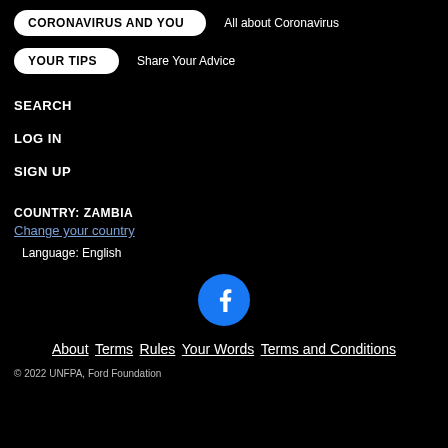CORONAVIRUS AND YOU | All about Coronavirus
YOUR TIPS | Share Your Advice
SEARCH
LOG IN
SIGN UP
COUNTRY: ZAMBIA
Change your country
Language: English
[Figure (logo): Facebook logo circle icon, blue background with white 'f']
About  Terms  Rules  Your Words  Terms and Conditions
© 2022 UNFPA, Ford Foundation